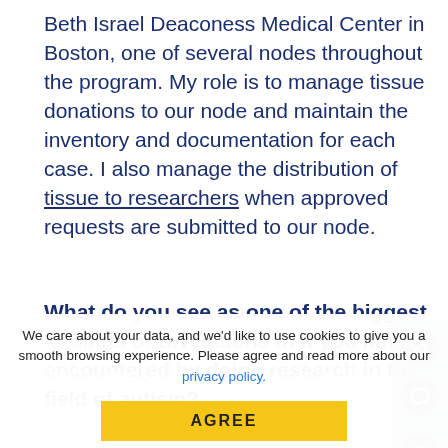Beth Israel Deaconess Medical Center in Boston, one of several nodes throughout the program. My role is to manage tissue donations to our node and maintain the inventory and documentation for each case. I also manage the distribution of tissue to researchers when approved requests are submitted to our node.
What do you see as one of the biggest findings or revelations that you have encountered by doing research in the field of autism?
When I started working here, one of the biggest revelations within was that there is a description of a neuroanatomical for autism. We found the presence of tangles and plaques are a hallmark of
We care about your data, and we'd like to use cookies to give you a smooth browsing experience. Please agree and read more about our privacy policy.
AGREE